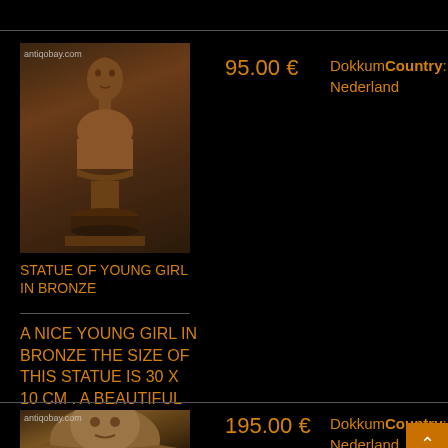[Figure (photo): Bronze statue of a young girl bust on a pedestal, shown against a gray-brown background. Watermark 'antiqobay.com' in top-left corner.]
95.00 €
DokkumCountry: Nederland
STATUE OF YOUNG GIRL IN BRONZE
A NICE YOUNG GIRL IN BRONZE THE SIZE OF THIS STATUE IS 30 x 10 CM . A BEAUTIFUL ITEM FOR T[...]
[Figure (photo): Partial view of a bronze bust, face visible. Watermark 'antiqobay.com' in top-left corner.]
195.00 €
DokkumCountry: Nederland